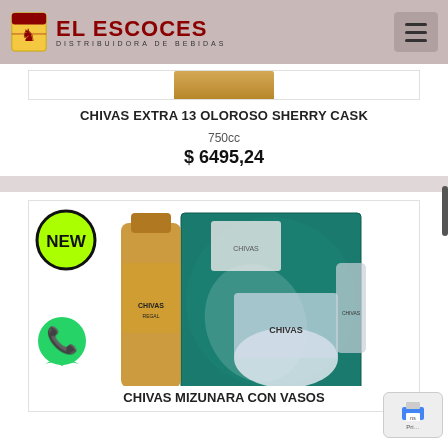[Figure (logo): El Escoces logo with lion shield and brand name, distribuidora de bebidas]
[Figure (photo): Partial bottom of Chivas Extra 13 Oloroso Sherry Cask bottle]
CHIVAS EXTRA 13 OLOROSO SHERRY CASK
750cc
$ 6495,24
[Figure (photo): Chivas Regal Mizunara gift set with bottle and branded glasses in teal box]
CHIVAS MIZUNARA CON VASOS